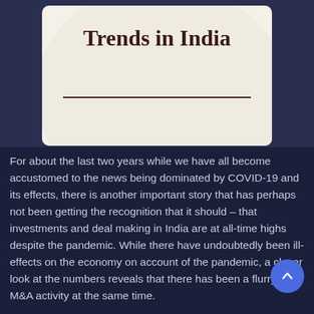[Figure (illustration): Book or report cover card showing the title 'Trends in India' in dark serif font on a cream/off-white background with a large circle design element and a horizontal rule beneath the title.]
For about the last two years while we have all become accustomed to the news being dominated by COVID-19 and its effects, there is another important story that has perhaps not been getting the recognition that it should – that investments and deal making in India are at all-time highs despite the pandemic. While there have undoubtedly been ill-effects on the economy on account of the pandemic, a closer look at the numbers reveals that there has been a flurry of M&A activity at the same time.
Industry reports and Government databases alike